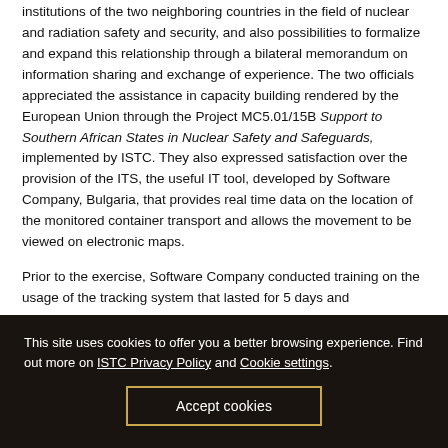institutions of the two neighboring countries in the field of nuclear and radiation safety and security, and also possibilities to formalize and expand this relationship through a bilateral memorandum on information sharing and exchange of experience. The two officials appreciated the assistance in capacity building rendered by the European Union through the Project MC5.01/15B Support to Southern African States in Nuclear Safety and Safeguards, implemented by ISTC. They also expressed satisfaction over the provision of the ITS, the useful IT tool, developed by Software Company, Bulgaria, that provides real time data on the location of the monitored container transport and allows the movement to be viewed on electronic maps.

Prior to the exercise, Software Company conducted training on the usage of the tracking system that lasted for 5 days and
This site uses cookies to offer you a better browsing experience. Find out more on ISTC Privacy Policy and Cookie settings.